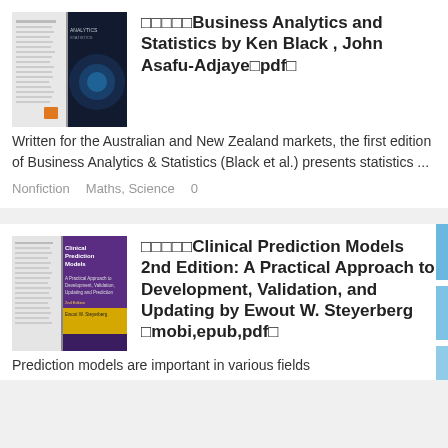[Figure (photo): Book cover for Business Analytics and Statistics by Ken Black, John Asafu-Adjaye]
□□□□□Business Analytics and Statistics by Ken Black , John Asafu-Adjaye□pdf□
Written for the Australian and New Zealand markets, the first edition of Business Analytics & Statistics (Black et al.) presents statistics ...
Nonfiction    Maths, Science    0
[Figure (photo): Book cover for Clinical Prediction Models 2nd Edition: A Practical Approach to Development, Validation, and Updating by Ewout W. Steyerberg]
□□□□□Clinical Prediction Models 2nd Edition: A Practical Approach to Development, Validation, and Updating by Ewout W. Steyerberg □mobi,epub,pdf□
Prediction models are important in various fields